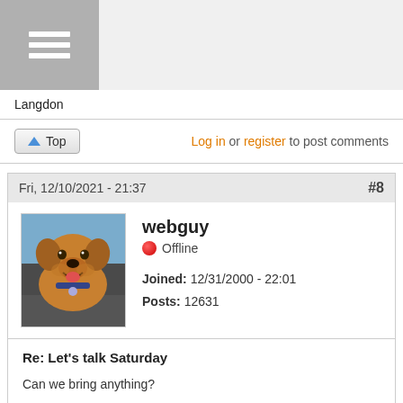[Figure (screenshot): Gray hamburger menu icon (three horizontal white lines on gray background) in top-left corner]
Langdon
Top | Log in or register to post comments
Fri, 12/10/2021 - 21:37 #8
[Figure (photo): Dog avatar photo - golden/tan dog sitting in a car window, smiling]
webguy
Offline
Joined: 12/31/2000 - 22:01
Posts: 12631
Re: Let's talk Saturday

Can we bring anything?

Van Pugh scratches filled and sanded. Ready to roll.
👍 1
♡ FoilDodo